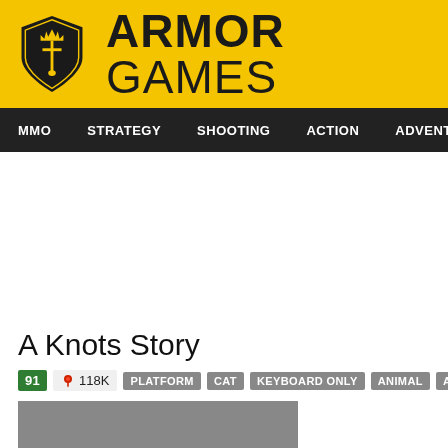[Figure (logo): Armor Games logo with yellow header bar, shield emblem on left, and bold text ARMOR GAMES on right]
MMO  STRATEGY  SHOOTING  ACTION  ADVENTURE  P
A Knots Story
91  118K  PLATFORM  CAT  KEYBOARD ONLY  ANIMAL  ADVENTURE
[Figure (screenshot): Gray placeholder area for game preview]